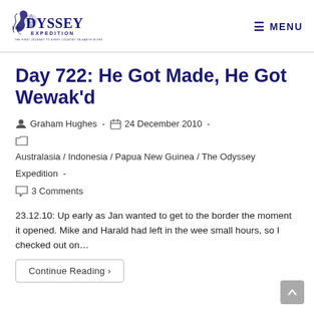[Figure (logo): The Odyssey Expedition logo — dark navy blue ornate text logo with tagline 'THE FIRST JOURNEY TO EVERY COUNTRY ON EARTH WITHOUT FLYING']
MENU
Day 722: He Got Made, He Got Wewak'd
Graham Hughes - 24 December 2010 -
Australasia / Indonesia / Papua New Guinea / The Odyssey Expedition -
3 Comments
23.12.10: Up early as Jan wanted to get to the border the moment it opened. Mike and Harald had left in the wee small hours, so I checked out on…
Continue Reading ›